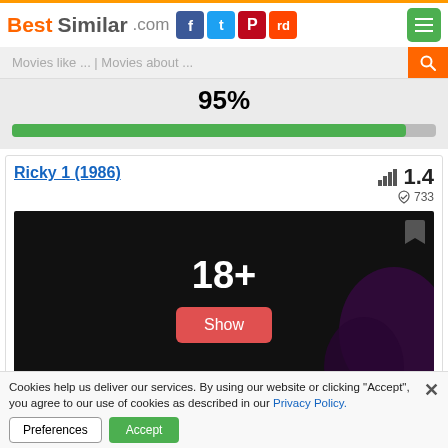BestSimilar.com
Movies like ... | Movies about ...
95%
Ricky 1 (1986)
1.4  733
[Figure (other): 18+ age restriction overlay with Show button on dark movie thumbnail with bookmark icon]
Cookies help us deliver our services. By using our website or clicking "Accept", you agree to our use of cookies as described in our Privacy Policy.